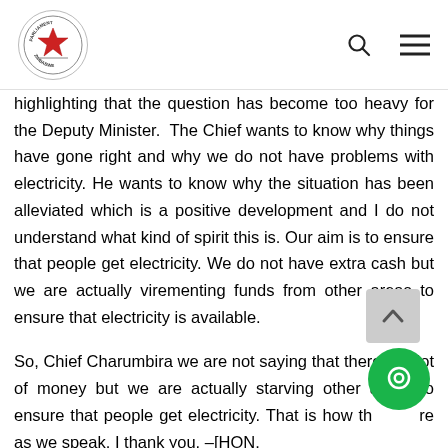Parliament of Zimbabwe logo with search and menu icons
highlighting that the question has become too heavy for the Deputy Minister. The Chief wants to know why things have gone right and why we do not have problems with electricity. He wants to know why the situation has been alleviated which is a positive development and I do not understand what kind of spirit this is. Our aim is to ensure that people get electricity. We do not have extra cash but we are actually virementing funds from other areas to ensure that electricity is available.
So, Chief Charumbira we are not saying that there is a lot of money but we are actually starving other areas to ensure that people get electricity. That is how things are as we speak. I thank you. –[HON.